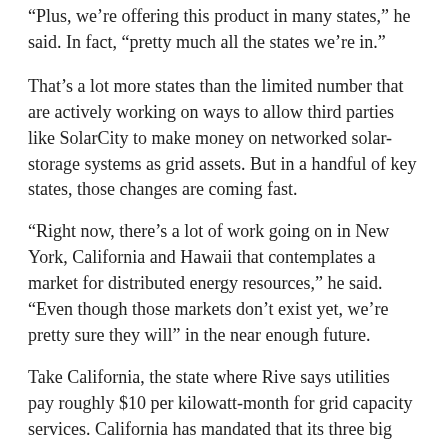“Plus, we’re offering this product in many states,” he said. In fact, “pretty much all the states we’re in.”
That’s a lot more states than the limited number that are actively working on ways to allow third parties like SolarCity to make money on networked solar-storage systems as grid assets. But in a handful of key states, those changes are coming fast.
“Right now, there’s a lot of work going on in New York, California and Hawaii that contemplates a market for distributed energy resources,” he said. “Even though those markets don’t exist yet, we’re pretty sure they will” in the near enough future.
Take California, the state where Rive says utilities pay roughly $10 per kilowatt-month for grid capacity services. California has mandated that its three big investor-owned utilities procure a combined 1.3 gigawatts of energy storage by 2022 — and it has set aside customer-sited storage systems as being eligible for meeting that mandate.
New models for merging utility